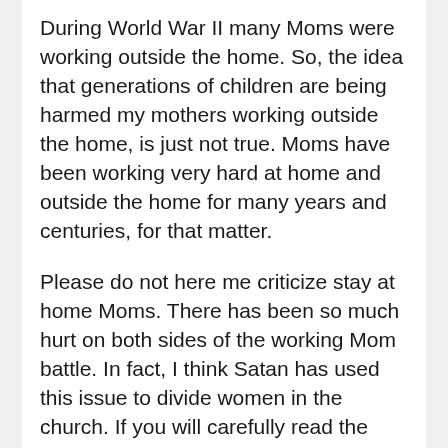During World War II many Moms were working outside the home. So, the idea that generations of children are being harmed my mothers working outside the home, is just not true. Moms have been working very hard at home and outside the home for many years and centuries, for that matter.
Please do not here me criticize stay at home Moms. There has been so much hurt on both sides of the working Mom battle. In fact, I think Satan has used this issue to divide women in the church. If you will carefully read the Bible God worked in many people's lives in many different ways. We see Deborah as a military commander, Lydia – a seller of purple cloth, Ruth and Naomi as widows, Esther – a